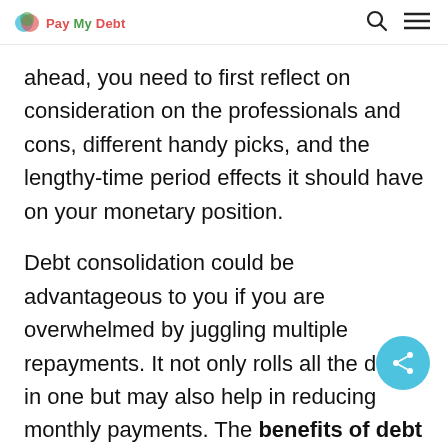Pay My Debt
ahead, you need to first reflect on consideration on the professionals and cons, different handy picks, and the lengthy-time period effects it should have on your monetary position.
Debt consolidation could be advantageous to you if you are overwhelmed by juggling multiple repayments. It not only rolls all the debts in one but may also help in reducing monthly payments. The benefits of debt consolidation include: